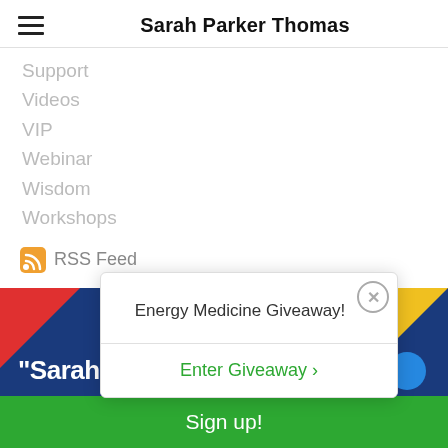Sarah Parker Thomas
Support
Videos
VIP
Webinar
Wisdom
Workshops
RSS Feed
“If I am not good to myself, how can I expect anyone else to be good to me?” — Maya Angelou
[Figure (screenshot): Promotional banner with dark blue background, red top-left corner, yellow bottom-right corner, white bold text reading '"Sarah hel...' and a blue circle bottom right]
[Figure (screenshot): Popup modal with title 'Energy Medicine Giveaway!' and a green 'Enter Giveaway >' button, with an X close button]
Sign up!